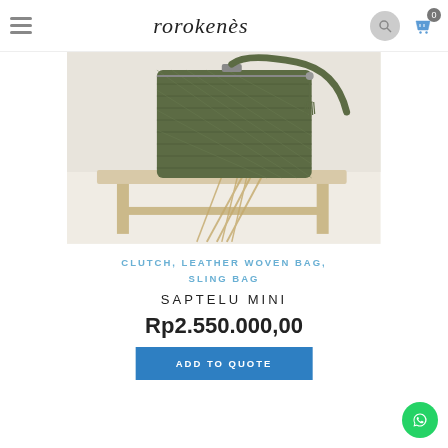rorokenès
[Figure (photo): An olive green woven leather sling bag / clutch displayed on a wooden stool with dried wheat stalks, against a white background.]
CLUTCH, LEATHER WOVEN BAG, SLING BAG
SAPTELU MINI
Rp2.550.000,00
ADD TO QUOTE